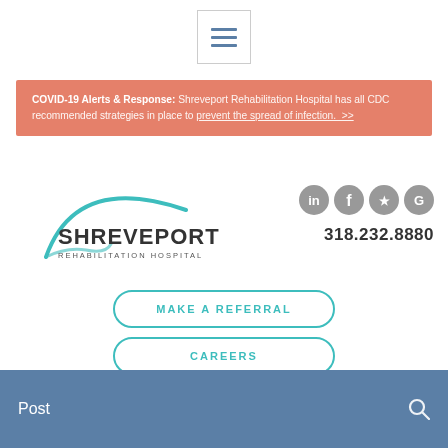[Figure (screenshot): Hamburger menu button (three horizontal lines) in a bordered square box]
COVID-19 Alerts & Response: Shreveport Rehabilitation Hospital has all CDC recommended strategies in place to prevent the spread of infection. >>
[Figure (logo): Shreveport Rehabilitation Hospital logo with teal arc and stylized S]
[Figure (infographic): Social media icons: LinkedIn, Facebook, Yelp, Google (grey circles) and phone number 318.232.8880]
MAKE A REFERRAL
CAREERS
DIRECTIONS
Post